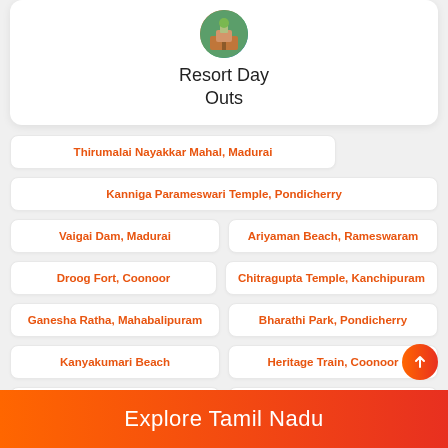[Figure (logo): Resort Day Outs circular logo with nature/resort imagery]
Resort Day Outs
Thirumalai Nayakkar Mahal, Madurai
Kanniga Parameswari Temple, Pondicherry
Vaigai Dam, Madurai
Ariyaman Beach, Rameswaram
Droog Fort, Coonoor
Chitragupta Temple, Kanchipuram
Ganesha Ratha, Mahabalipuram
Bharathi Park, Pondicherry
Kanyakumari Beach
Heritage Train, Coonoor
Wax Museum, Kanyakumari
Goripalayam Dargah, Madurai
Palamathi Hills, Vellore
Sculpture Museum, Mahabalipuram
Explore Tamil Nadu